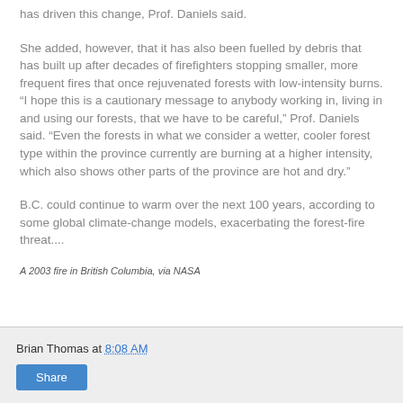has driven this change, Prof. Daniels said.
She added, however, that it has also been fuelled by debris that has built up after decades of firefighters stopping smaller, more frequent fires that once rejuvenated forests with low-intensity burns. “I hope this is a cautionary message to anybody working in, living in and using our forests, that we have to be careful,” Prof. Daniels said. “Even the forests in what we consider a wetter, cooler forest type within the province currently are burning at a higher intensity, which also shows other parts of the province are hot and dry.”
B.C. could continue to warm over the next 100 years, according to some global climate-change models, exacerbating the forest-fire threat....
A 2003 fire in British Columbia, via NASA
Brian Thomas at 8:08 AM
Share